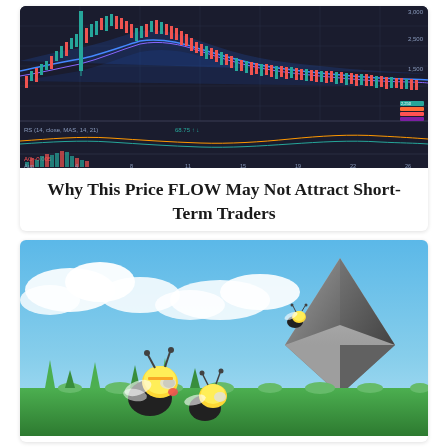[Figure (continuous-plot): Dark-themed cryptocurrency trading chart (candlestick chart) showing price action with moving averages, RSI indicator panel, and MACD/volume panel at the bottom. Time axis labeled Aug with dates. Price levels visible on right axis around 2,500-3,000 range. Red and green candlesticks with blue moving average lines.]
Why This Price FLOW May Not Attract Short-Term Traders
[Figure (illustration): Illustrated image showing cartoon bee characters (yellow helmeted bees) in green grass looking up at a large gray Ethereum diamond logo/crystal against a blue sky with white clouds.]